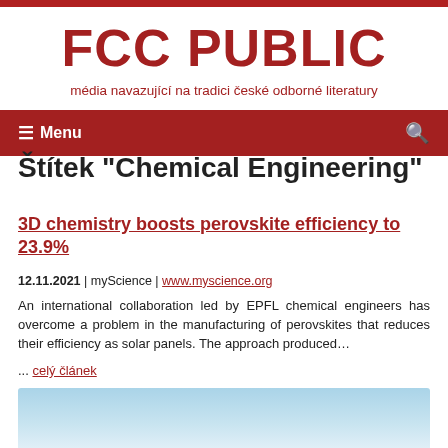FCC PUBLIC
média navazující na tradici české odborné literatury
≡ Menu
Štítek "Chemical Engineering"
3D chemistry boosts perovskite efficiency to 23.9%
12.11.2021 | myScience | www.myscience.org
An international collaboration led by EPFL chemical engineers has overcome a problem in the manufacturing of perovskites that reduces their efficiency as solar panels. The approach produced…
... celý článek
[Figure (photo): Blue sky/gradient image partially visible at bottom of page, associated with the article about perovskite efficiency]